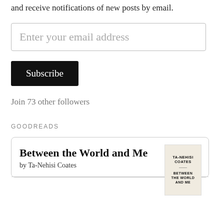and receive notifications of new posts by email.
[Figure (other): Email address input field with placeholder text 'Enter your email address']
[Figure (other): Subscribe button, black background with white text]
Join 73 other followers
GOODREADS
[Figure (other): Goodreads book card for 'Between the World and Me' by Ta-Nehisi Coates, with book cover image on the right]